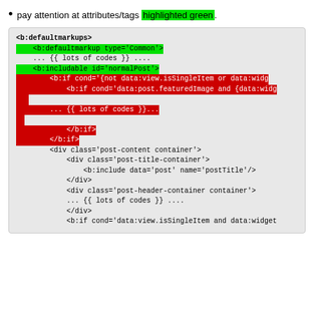pay attention at attributes/tags highlighted green.
[Figure (screenshot): Code block showing XML/template markup with green-highlighted lines for <b:defaultmarkup type='Common'> and <b:includable id='normalPost'>, and red-highlighted lines for b:if conditions and related code blocks, followed by plain code lines for div elements.]